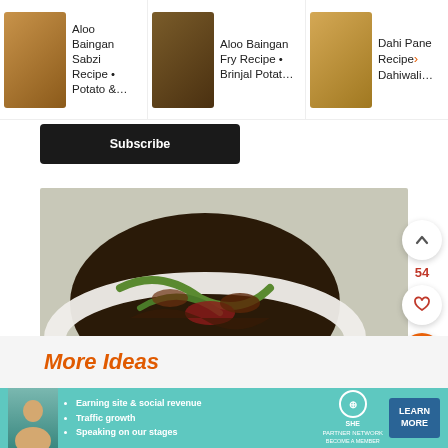[Figure (screenshot): Website screenshot showing recipe cards at top: 'Aloo Baingan Sabzi Recipe • Potato &...', 'Aloo Baingan Fry Recipe • Brinjal Potat...', 'Dahi Pane Recipe • Dahiwali...', a Subscribe button, a main food photo of Indian eggplant dish in a white bowl, social interaction buttons (up arrow, heart with count 54, search), a 'More Ideas' section header, and a SHE Partner Network advertisement banner at bottom.]
Aloo Baingan Sabzi Recipe • Potato &...
Aloo Baingan Fry Recipe • Brinjal Potat...
Dahi Pane Recipe Dahiwali...
Subscribe
[Figure (photo): Indian eggplant (brinjal) dish with vegetables in a white bowl, dark brown sauce, photographed on white background]
54
More Ideas
[Figure (infographic): SHE Partner Network advertisement with bullet points: Earning site & social revenue, Traffic growth, Speaking on our stages. Learn More button.]